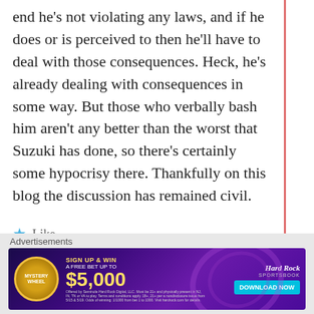end he's not violating any laws, and if he does or is perceived to then he'll have to deal with those consequences. Heck, he's already dealing with consequences in some way. But those who verbally bash him aren't any better than the worst that Suzuki has done, so there's certainly some hypocrisy there. Thankfully on this blog the discussion has remained civil.
Like
Reply
Advertisements
[Figure (other): Hard Rock Sportsbook advertisement banner. Sign up and win a free bet up to $5,000 with Mystery Wheel promotion. Download Now button.]